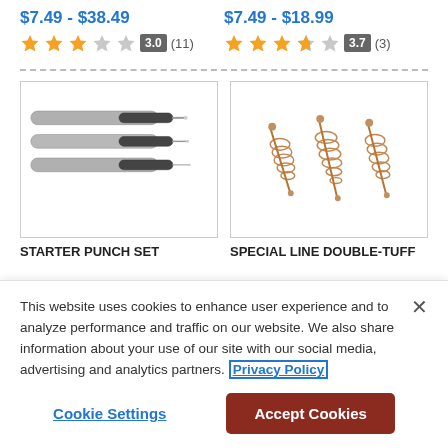$7.49 - $38.49
$7.49 - $18.99
3.0 (11) rating stars
3.7 (3) rating stars
[Figure (photo): Three metal punch tools with cylindrical bodies and pointed tips, arranged in parallel]
STARTER PUNCH SET
[Figure (photo): Three bronze/copper bore cleaning brushes with twisted bristles and metal stems]
SPECIAL LINE DOUBLE-TUFF
This website uses cookies to enhance user experience and to analyze performance and traffic on our website. We also share information about your use of our site with our social media, advertising and analytics partners. Privacy Policy
Cookie Settings
Accept Cookies